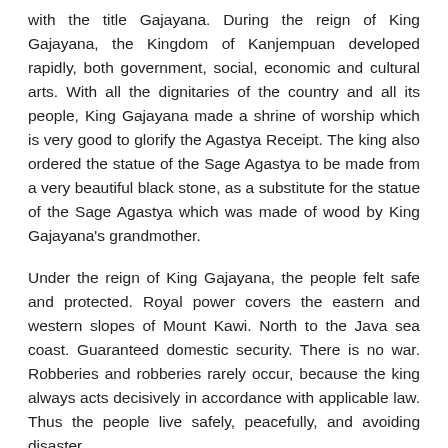with the title Gajayana. During the reign of King Gajayana, the Kingdom of Kanjempuan developed rapidly, both government, social, economic and cultural arts. With all the dignitaries of the country and all its people, King Gajayana made a shrine of worship which is very good to glorify the Agastya Receipt. The king also ordered the statue of the Sage Agastya to be made from a very beautiful black stone, as a substitute for the statue of the Sage Agastya which was made of wood by King Gajayana's grandmother.
Under the reign of King Gajayana, the people felt safe and protected. Royal power covers the eastern and western slopes of Mount Kawi. North to the Java sea coast. Guaranteed domestic security. There is no war. Robberies and robberies rarely occur, because the king always acts decisively in accordance with applicable law. Thus the people live safely, peacefully, and avoiding disaster.